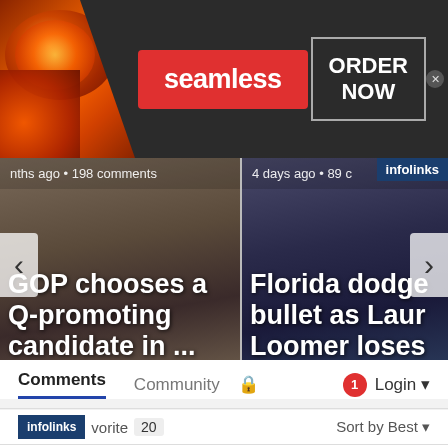[Figure (screenshot): Seamless food delivery advertisement banner with pizza image on left, red Seamless badge in center, ORDER NOW button on right, close X button]
[Figure (screenshot): News article carousel showing two articles: 'GOP chooses a Q-promoting candidate in ...' (months ago, 198 comments) and 'Florida dodge bullet as Laura Loomer loses' (4 days ago, 89 comments), with left/right navigation arrows and infolinks badge]
Comments
Community
Login
favorite 20
Sort by Best
[Figure (screenshot): Dickies ad banner: 'Dickies® | Official Site | Workwear & Apparel', 'for work pants, work shirts, overalls, and coveralls.', www.dickies.com, with blue circular next arrow button and infolinks badge overlay]